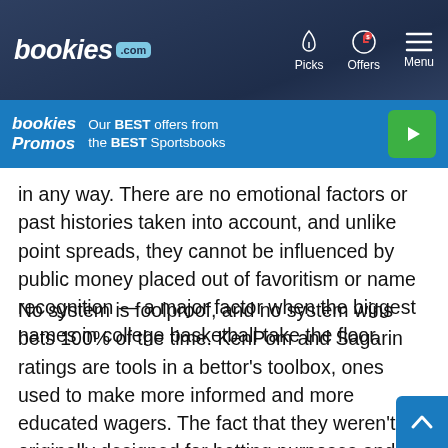bookies.com | Picks | Offers | Menu
[Figure (screenshot): bookies Promos banner: Our BEST offers from the BEST Sportsbooks with green play button]
in any way. There are no emotional factors or past histories taken into account, and unlike point spreads, they cannot be influenced by public money placed out of favoritism or name recognition — a major factor when the biggest names in college basketball take the floor.
No system is foolproof, and no system wins bets 100% of the time. KenPom and Sagarin ratings are tools in a bettor's toolbox, ones used to make more informed and more educated wagers. The fact that they weren't originally designed for betting purposes and don't feature any sort of house edge, only increase their